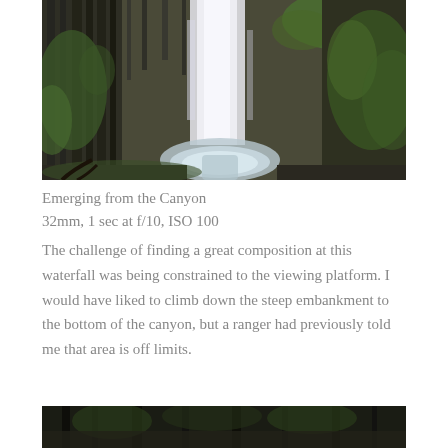[Figure (photo): A long-exposure photograph of a waterfall cascading down a canyon with dark basalt columns and lush green moss-covered rocks. The water appears silky smooth due to the long exposure. A stream flows at the base of the falls.]
Emerging from the Canyon
32mm, 1 sec at f/10, ISO 100
The challenge of finding a great composition at this waterfall was being constrained to the viewing platform. I would have liked to climb down the steep embankment to the bottom of the canyon, but a ranger had previously told me that area is off limits.
[Figure (photo): Bottom portion of a dark forest/canyon scene, partially visible at the bottom of the page.]